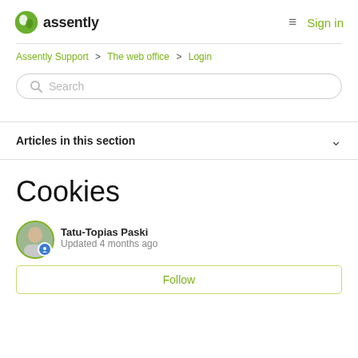assently   Sign in
Assently Support > The web office > Login
Search
Articles in this section
Cookies
Tatu-Topias Paski
Updated 4 months ago
Follow